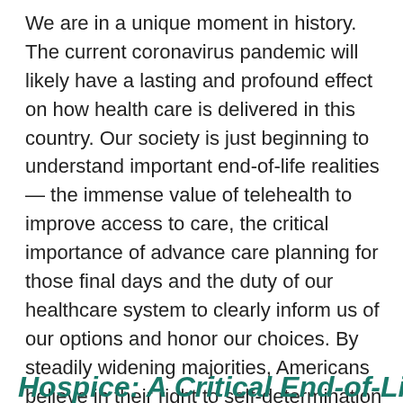We are in a unique moment in history. The current coronavirus pandemic will likely have a lasting and profound effect on how health care is delivered in this country. Our society is just beginning to understand important end-of-life realities — the immense value of telehealth to improve access to care, the critical importance of advance care planning for those final days and the duty of our healthcare system to clearly inform us of our options and honor our choices. By steadily widening majorities, Americans believe in their right to self-determination at life's end and the New Mexico End of Life Options Coalition will continue working to protect and expand that right.
Hospice: A Critical End-of-Life…